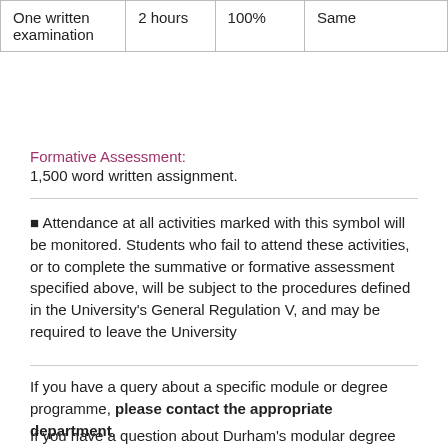|  |  |  |  |
| --- | --- | --- | --- |
| One written examination | 2 hours | 100% | Same |
Formative Assessment:
1,500 word written assignment.
■ Attendance at all activities marked with this symbol will be monitored. Students who fail to attend these activities, or to complete the summative or formative assessment specified above, will be subject to the procedures defined in the University's General Regulation V, and may be required to leave the University
If you have a query about a specific module or degree programme, please contact the appropriate department.
If you have a question about Durham's modular degree